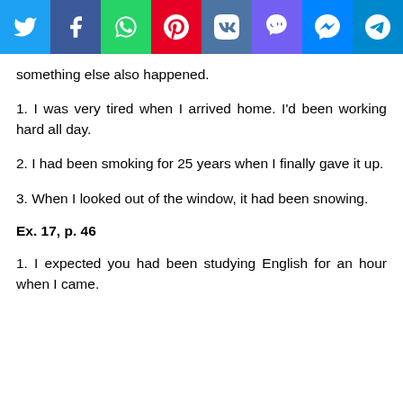[Figure (other): Social media sharing icons bar: Twitter (blue), Facebook (dark blue), WhatsApp (green), Pinterest (red), VK (dark blue), Viber (purple), Messenger (blue), Telegram (light blue)]
something else also happened.
1. I was very tired when I arrived home. I'd been working hard all day.
2. I had been smoking for 25 years when I finally gave it up.
3. When I looked out of the window, it had been snowing.
Ex. 17, p. 46
1. I expected you had been studying English for an hour when I came.